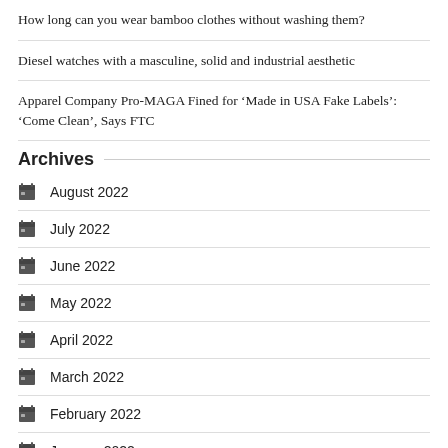How long can you wear bamboo clothes without washing them?
Diesel watches with a masculine, solid and industrial aesthetic
Apparel Company Pro-MAGA Fined for ‘Made in USA Fake Labels’: ‘Come Clean’, Says FTC
Archives
August 2022
July 2022
June 2022
May 2022
April 2022
March 2022
February 2022
January 2022